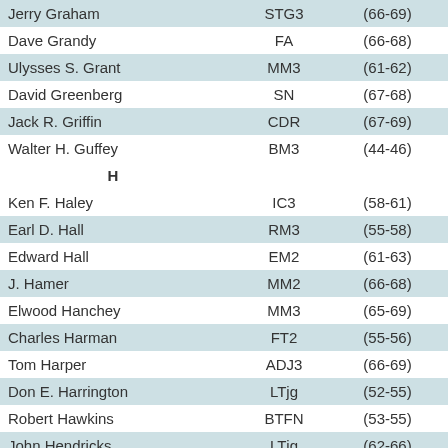| Name | Rate | Years | Contact |
| --- | --- | --- | --- |
| Jerry Graham | STG3 | (66-69) | Email |
| Dave Grandy | FA | (66-68) | Email |
| Ulysses S. Grant | MM3 | (61-62) | Email |
| David Greenberg | SN | (67-68) | Email |
| Jack R. Griffin | CDR | (67-69) | R.I.P. |
| Walter H. Guffey | BM3 | (44-46) | Email |
| H |  |  | Top |
| Ken F. Haley | IC3 | (58-61) | Email |
| Earl D. Hall | RM3 | (55-58) | Email |
| Edward Hall | EM2 | (61-63) | Email |
| J. Hamer | MM2 | (66-68) | Email |
| Elwood Hanchey | MM3 | (65-69) | Email |
| Charles Harman | FT2 | (55-56) | Email |
| Tom Harper | ADJ3 | (66-69) | Email |
| Don E. Harrington | LTjg | (52-55) | R.I.P. |
| Robert Hawkins | BTFN | (53-55) | Email |
| John Hendricks | LTjg | (62-66) | Email |